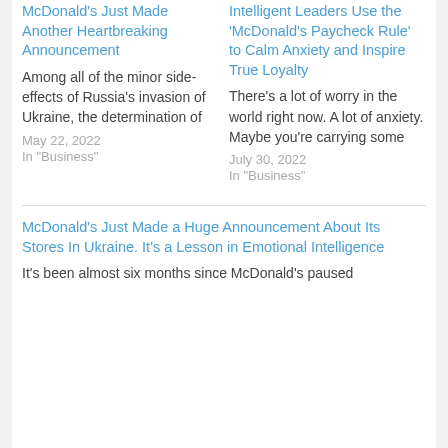McDonald's Just Made Another Heartbreaking Announcement
Among all of the minor side-effects of Russia's invasion of Ukraine, the determination of
May 22, 2022
In "Business"
Intelligent Leaders Use the ‘McDonald’s Paycheck Rule’ to Calm Anxiety and Inspire True Loyalty
There's a lot of worry in the world right now. A lot of anxiety. Maybe you're carrying some
July 30, 2022
In "Business"
McDonald's Just Made a Huge Announcement About Its Stores In Ukraine. It's a Lesson in Emotional Intelligence
It's been almost six months since McDonald's paused its operations in